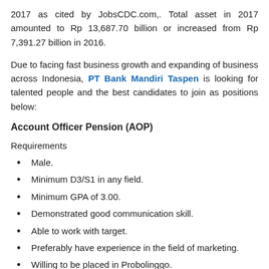2017 as cited by JobsCDC.com,. Total asset in 2017 amounted to Rp 13,687.70 billion or increased from Rp 7,391.27 billion in 2016.
Due to facing fast business growth and expanding of business across Indonesia, PT Bank Mandiri Taspen is looking for talented people and the best candidates to join as positions below:
Account Officer Pension (AOP)
Requirements
Male.
Minimum D3/S1 in any field.
Minimum GPA of 3.00.
Demonstrated good communication skill.
Able to work with target.
Preferably have experience in the field of marketing.
Willing to be placed in Probolinggo.